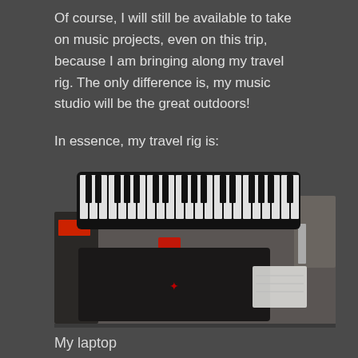Of course, I will still be available to take on music projects, even on this trip, because I am bringing along my travel rig. The only difference is, my music studio will be the great outdoors!
In essence, my travel rig is:
[Figure (photo): A photo showing a travel music rig laid out on a surface: a MIDI keyboard controller at the top, a dark laptop (with a red accent/logo) in the center-bottom, some gear including cables and a bag on the left side, white papers on the right side.]
My laptop